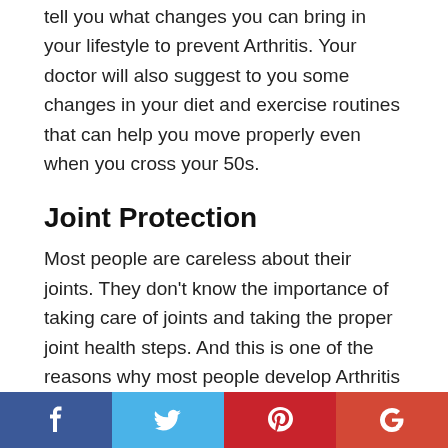tell you what changes you can bring in your lifestyle to prevent Arthritis. Your doctor will also suggest to you some changes in your diet and exercise routines that can help you move properly even when you cross your 50s.
Joint Protection
Most people are careless about their joints. They don't know the importance of taking care of joints and taking the proper joint health steps. And this is one of the reasons why most people develop Arthritis over time. One of the best tips you can follow for arthritis prevention is seeking expert advice for joint protection. But there are some essential tips you should follow to take proper care
Facebook Twitter Pinterest Google+